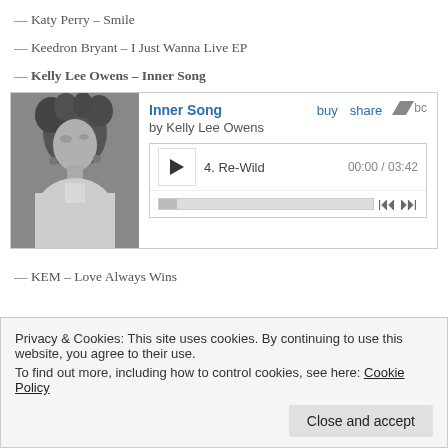— Katy Perry – Smile
— Keedron Bryant – I Just Wanna Live EP
— Kelly Lee Owens – Inner Song
[Figure (screenshot): Bandcamp embedded music player for 'Inner Song' by Kelly Lee Owens, showing album art, title, buy/share links, track 4 Re-Wild, time 00:00/03:42, playback controls]
— KEM – Love Always Wins
Privacy & Cookies: This site uses cookies. By continuing to use this website, you agree to their use.
To find out more, including how to control cookies, see here: Cookie Policy
Close and accept